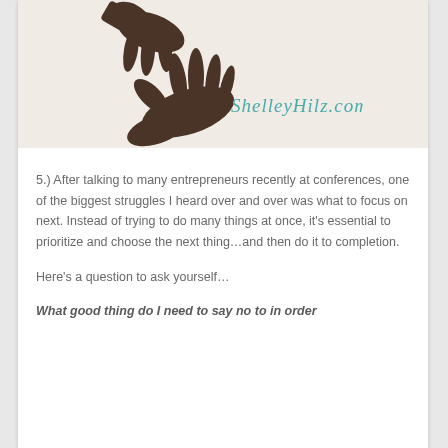[Figure (logo): ShelleyHilz.com logo with two hands reaching toward each other on a beige background, with the website URL in teal script]
5.) After talking to many entrepreneurs recently at conferences, one of the biggest struggles I heard over and over was what to focus on next. Instead of trying to do many things at once, it's essential to prioritize and choose the next thing…and then do it to completion.
Here's a question to ask yourself…
What good thing do I need to say no to in order